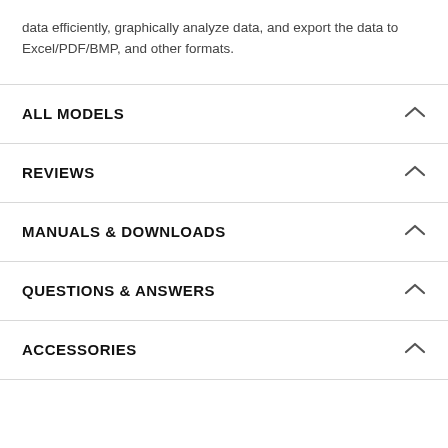data efficiently, graphically analyze data, and export the data to Excel/PDF/BMP, and other formats.
ALL MODELS
REVIEWS
MANUALS & DOWNLOADS
QUESTIONS & ANSWERS
ACCESSORIES